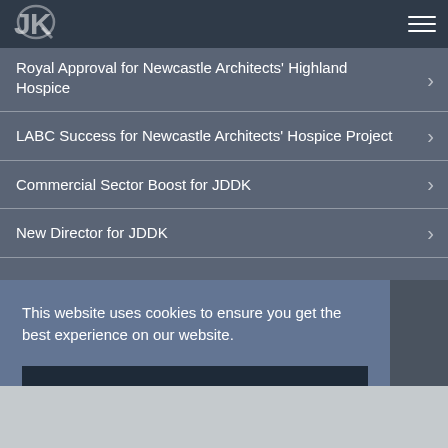[Figure (logo): JDK architects logo — stylized letters J and K interlinked]
Royal Approval for Newcastle Architects' Highland Hospice
LABC Success for Newcastle Architects' Hospice Project
Commercial Sector Boost for JDDK
New Director for JDDK
This website uses cookies to ensure you get the best experience on our website.
I Accept